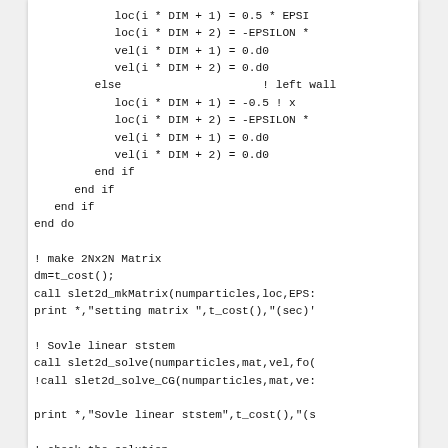Fortran source code snippet showing particle initialization and matrix setup routines including loc, vel assignments, end if/end do blocks, calls to slet2d_mkMatrix, slet2d_solve, check_solution, and deallocate.